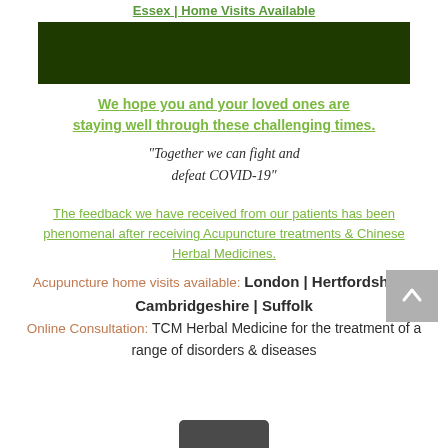Essex | Home Visits Available
[Figure (photo): Dark green/olive colored banner image]
We hope you and your loved ones are staying well through these challenging times.
"Together we can fight and defeat COVID-19"
The feedback we have received from our patients has been phenomenal after receiving Acupuncture treatments & Chinese Herbal Medicines.
Acupuncture home visits available: London | Hertfordshire | Cambridgeshire | Suffolk Online Consultation: TCM Herbal Medicine for the treatment of a range of disorders & diseases